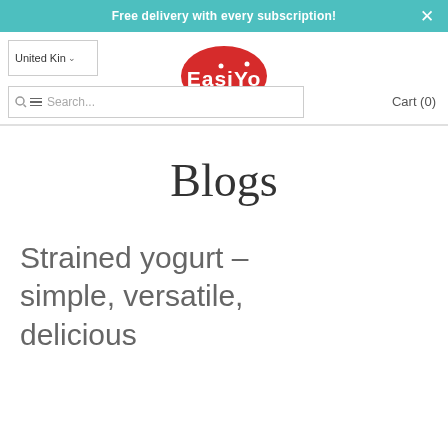Free delivery with every subscription!
[Figure (logo): EasiYo brand logo — red oval with white text 'EasiYo' including stylized dots over i and o]
United Kingdom
Search...
Cart (0)
Blogs
Strained yogurt – simple, versatile, delicious